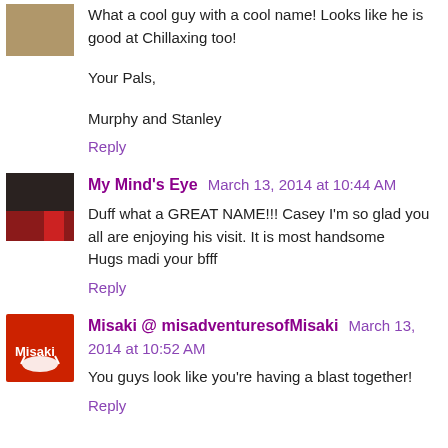What a cool guy with a cool name! Looks like he is good at Chillaxing too!
Your Pals,
Murphy and Stanley
Reply
My Mind's Eye  March 13, 2014 at 10:44 AM
Duff what a GREAT NAME!!! Casey I'm so glad you all are enjoying his visit. It is most handsome
Hugs madi your bfff
Reply
Misaki @ misadventuresofMisaki  March 13, 2014 at 10:52 AM
You guys look like you're having a blast together!
Reply